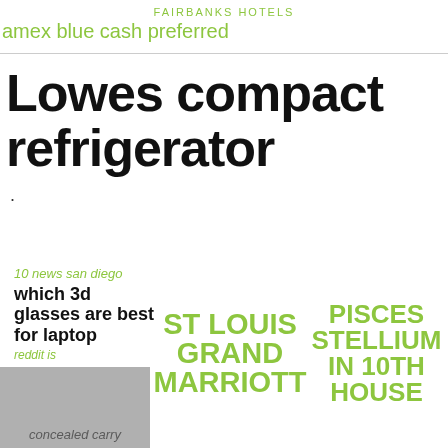FAIRBANKS HOTELS
amex blue cash preferred
Lowes compact refrigerator
.
10 news san diego
which 3d glasses are best for laptop
reddit is
concealed carry
ST LOUIS GRAND MARRIOTT
PISCES STELLIUM IN 10TH HOUSE